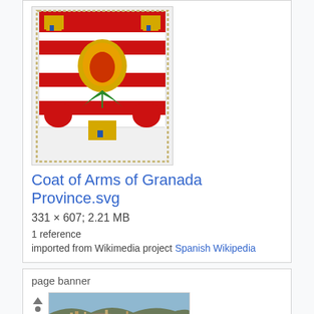[Figure (illustration): Coat of Arms of Granada Province SVG image showing heraldic shield with pomegranate, castles, and lions]
Coat of Arms of Granada Province.svg
331 × 607; 2.21 MB
1 reference
imported from Wikimedia project Spanish Wikipedia
page banner
[Figure (photo): Guadix banner photo showing a panoramic view of a rocky hillside town]
Guadix banner.jpg
2,100 × 300; 344 KB